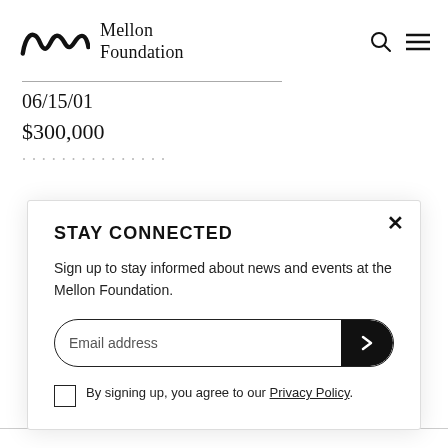Mellon Foundation
06/15/01
$300,000
STAY CONNECTED
Sign up to stay informed about news and events at the Mellon Foundation.
Email address
By signing up, you agree to our Privacy Policy.